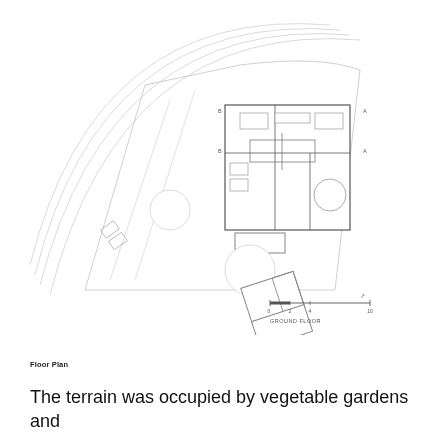[Figure (schematic): Architectural floor plan (ground floor) of a building situated on a curved/angular plot. The plan shows a main rectangular building with interior room divisions, a circular element, smaller ancillary structures, staircases, and a scale bar labeled 'GROUND FLOOR' with markings at 0, 2, 4, and 10. Concentric arc lines indicate the curved boundary of the site.]
Floor Plan
The terrain was occupied by vegetable gardens and